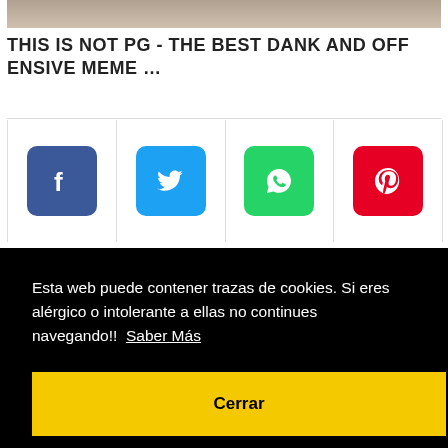[Figure (photo): Partial top image of a meme/person, cropped]
THIS IS NOT PG - THE BEST DANK AND OFF ENSIVE MEME …
[Figure (infographic): Social share buttons row: Facebook (blue), Twitter (light blue), WhatsApp (green), Pinterest (red)]
[Figure (photo): Partial bottom image showing a person holding a sign that reads SAY TUNA SUB]
Esta web puede contener trazas de cookies. Si eres alérgico o intolerante a ellas no continues navegando!!  Saber Más
Cerrar